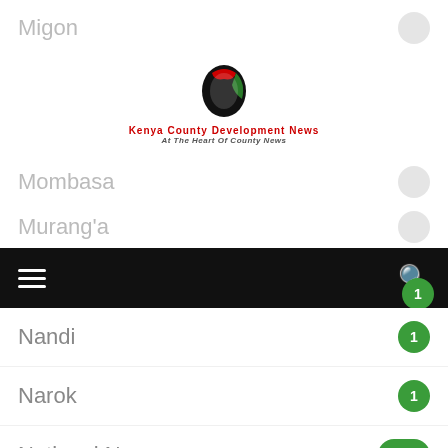Migon — 1
[Figure (logo): Kenya County Development News logo with Kenya map silhouette in black, red, green colors and tagline 'At The Heart Of County News']
Mombasa — 1
Murang'a — 1
Navigation bar with hamburger menu and search icon
Nandi — 1
Narok — 1
National News — 17534
Samburu — 1
Siaya — 3
Taita Taveta — 1
Top News — 62
Trans Nzoia — 1
Vihiga — 6